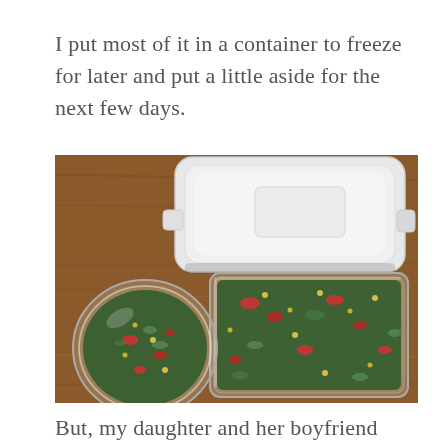I put most of it in a container to freeze for later and put a little aside for the next few days.
[Figure (photo): Overhead view of food storage containers on a wooden table. A small round glass bowl and a large rectangular glass dish both contain a chopped vegetable mixture with greens, red peppers, and yellow corn. A white plastic container lid is visible in the top portion of the image.]
But, my daughter and her boyfriend stopped by and